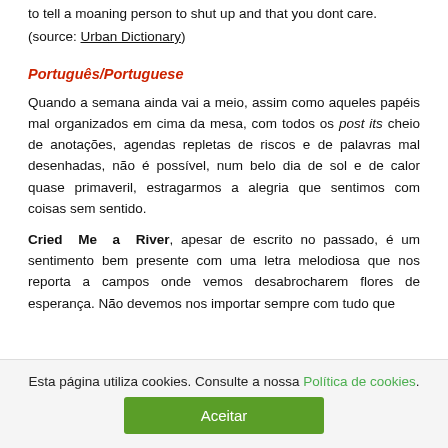to tell a moaning person to shut up and that you dont care.
(source: Urban Dictionary)
Português/Portuguese
Quando a semana ainda vai a meio, assim como aqueles papéis mal organizados em cima da mesa, com todos os post its cheio de anotações, agendas repletas de riscos e de palavras mal desenhadas, não é possível, num belo dia de sol e de calor quase primaveril, estragarmos a alegria que sentimos com coisas sem sentido.
Cried Me a River, apesar de escrito no passado, é um sentimento bem presente com uma letra melodiosa que nos reporta a campos onde vemos desabrocharem flores de esperança. Não devemos nos importar sempre com tudo que
Esta página utiliza cookies. Consulte a nossa Política de cookies. Aceitar